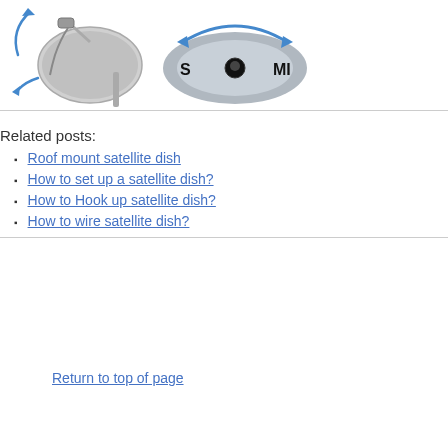[Figure (illustration): Satellite dish with blue rotation arrows showing tilt/azimuth adjustment, mounted on a pole]
[Figure (illustration): Top-down compass view showing azimuth direction with blue arc arrows labeled S and MI, with a central pivot point]
Related posts:
Roof mount satellite dish
How to set up a satellite dish?
How to Hook up satellite dish?
How to wire satellite dish?
Return to top of page